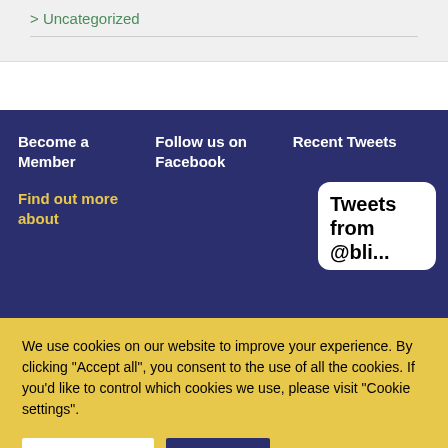> Uncategorized
Become a Member
Follow us on Facebook
Recent Tweets
Find out more about
[Figure (screenshot): Tweets from @... widget box (partially visible)]
We use cookies on our website to improve your experience. By clicking "Accept all", you consent to the use of all the cookies. If you'd like to control which cookies we use, please visit "Cookie settings".
Cookie settings
Accept all